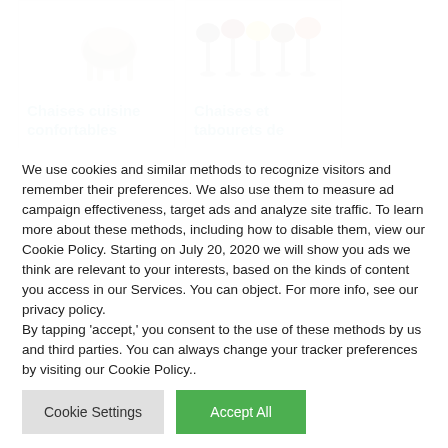[Figure (photo): Product card showing a taupe/brown chair with white metal legs, labeled 'Chaises cuisine confortables']
Chaises cuisine confortables
[Figure (photo): Product card showing colorful bar stools in black, red, yellow, brown, and orange colors, labeled 'Chaises et tabourets de']
Chaises et tabourets de
We use cookies and similar methods to recognize visitors and remember their preferences. We also use them to measure ad campaign effectiveness, target ads and analyze site traffic. To learn more about these methods, including how to disable them, view our Cookie Policy. Starting on July 20, 2020 we will show you ads we think are relevant to your interests, based on the kinds of content you access in our Services. You can object. For more info, see our privacy policy.
By tapping 'accept,' you consent to the use of these methods by us and third parties. You can always change your tracker preferences by visiting our Cookie Policy..
Cookie Settings
Accept All